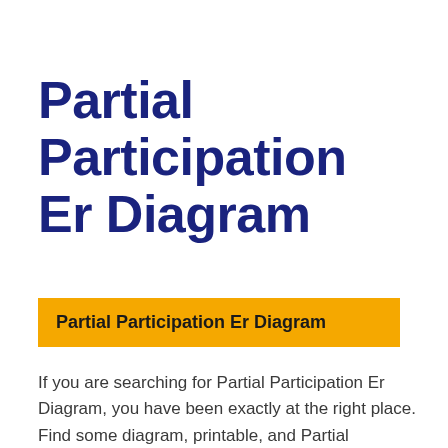Partial Participation Er Diagram
Partial Participation Er Diagram
If you are searching for Partial Participation Er Diagram, you have been exactly at the right place. Find some diagram, printable, and Partial Participation Er Diagram right here on this website.